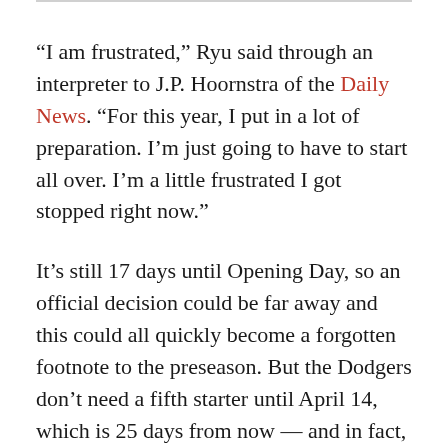“I am frustrated,” Ryu said through an interpreter to J.P. Hoornstra of the Daily News. “For this year, I put in a lot of preparation. I’m just going to have to start all over. I’m a little frustrated I got stopped right now.”
It’s still 17 days until Opening Day, so an official decision could be far away and this could all quickly become a forgotten footnote to the preseason. But the Dodgers don’t need a fifth starter until April 14, which is 25 days from now — and in fact, that’s the only day the Dodgers need a fifth starter until April 25. So don’t be surprised if Los Angeles plays it cautiously with Ryu and begins the season with four starting pitchers and an extra reliever amid what has been a spirited competition